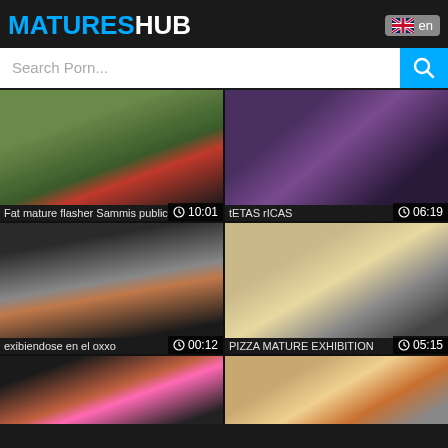MATURESHUB
Search Porn...
[Figure (screenshot): Video thumbnail: Fat mature flasher Sammis public, duration 10:01]
Fat mature flasher Sammis public
[Figure (screenshot): Video thumbnail: tETAS rICAS, duration 06:19]
tETAS rICAS
[Figure (screenshot): Video thumbnail: exibiendose en el oxxo, duration 00:12]
exibiendose en el oxxo
[Figure (screenshot): Video thumbnail: PIZZA MATURE EXHIBITION, duration 05:15]
PIZZA MATURE EXHIBITION
[Figure (screenshot): Video thumbnail: partial, bottom row left]
[Figure (screenshot): Video thumbnail: partial, bottom row right]